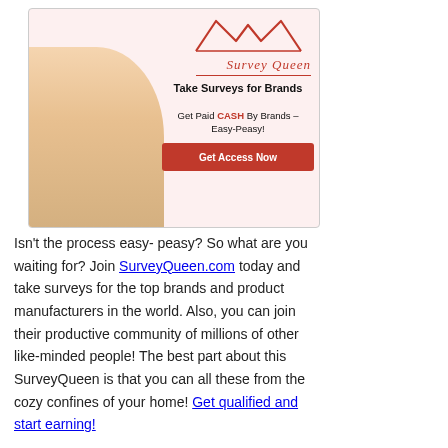[Figure (infographic): Survey Queen advertisement banner with a blonde woman, crown logo, 'Take Surveys for Brands' headline, 'Get Paid CASH By Brands – Easy-Peasy!' subtext, and a red 'Get Access Now' button]
Isn't the process easy- peasy? So what are you waiting for? Join SurveyQueen.com today and take surveys for the top brands and product manufacturers in the world. Also, you can join their productive community of millions of other like-minded people! The best part about this SurveyQueen is that you can all these from the cozy confines of your home! Get qualified and start earning!